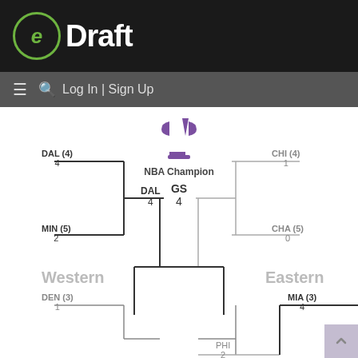[Figure (logo): eDraft logo with green circle containing stylized 'e' and white 'Draft' text on dark background]
≡  🔍 Log In | Sign Up
[Figure (infographic): NBA playoff bracket showing Western and Eastern conference matchups. Western: DAL(4) beat MIN(5) 4-2, DAL advanced with 4 wins. Eastern: CHI(4) beat CHA(5) 1-0. Lower bracket: DEN(3) scored 1, PHI scored 2, MIA(3) scored 4. NBA Champion: GS 4.]